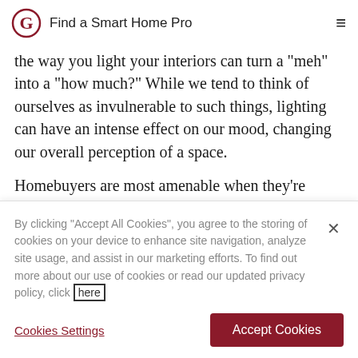Find a Smart Home Pro
the way you light your interiors can turn a “meh” into a “how much?” While we tend to think of ourselves as invulnerable to such things, lighting can have an intense effect on our mood, changing our overall perception of a space.
Homebuyers are most amenable when they’re feeling bright and happy, so generally, flooding your
By clicking “Accept All Cookies”, you agree to the storing of cookies on your device to enhance site navigation, analyze site usage, and assist in our marketing efforts. To find out more about our use of cookies or read our updated privacy policy, click here
Cookies Settings
Accept Cookies